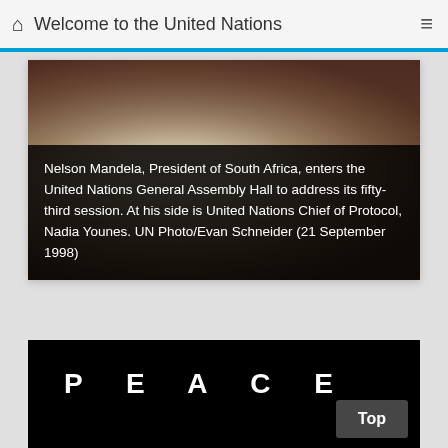Welcome to the United Nations
[Figure (photo): Photo of Nelson Mandela, President of South Africa, entering the United Nations General Assembly Hall with UN Chief of Protocol Nadia Younes at his side.]
Nelson Mandela, President of South Africa, enters the United Nations General Assembly Hall to address its fifty-third session. At his side is United Nations Chief of Protocol, Nadia Younes. UN Photo/Evan Schneider (21 September 1998)
PEACE